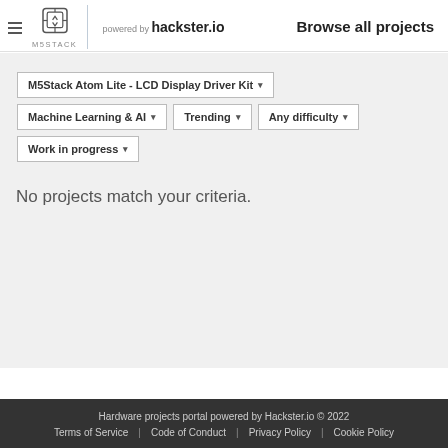powered by hackster.io  Browse all projects
M5Stack Atom Lite - LCD Display Driver Kit ▾
Machine Learning & AI ▾
Trending ▾
Any difficulty ▾
Work in progress ▾
No projects match your criteria.
Hardware projects portal powered by Hackster.io © 2022  Terms of Service  Code of Conduct  Privacy Policy  Cookie Policy